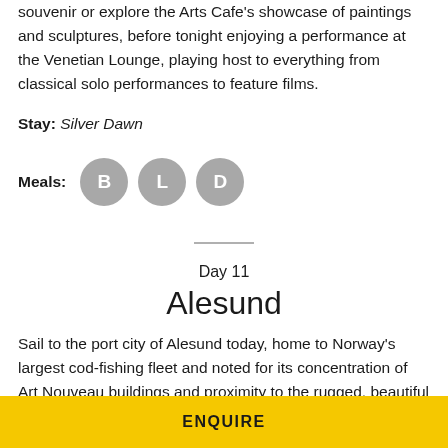Today, perhaps browse Silver Dawn's luxury boutique for a souvenir or explore the Arts Cafe's showcase of paintings and sculptures, before tonight enjoying a performance at the Venetian Lounge, playing host to everything from classical solo performances to feature films.
Stay: Silver Dawn
Meals: B L D
Day 11
Alesund
Sail to the port city of Alesund today, home to Norway's largest cod-fishing fleet and noted for its concentration of Art Nouveau buildings and proximity to the rugged, beautiful western fjords. Everything from guided walking tours among the decorative turrets and pastel-coloured buildings to ultra-scenic, mountain-valley drives are offered, into a beautiful city that's all home t… essive fjords,